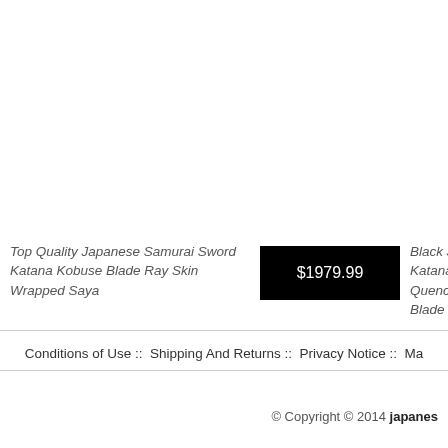Top Quality Japanese Samurai Sword Katana Kobuse Blade Ray Skin Wrapped Saya
$1979.99
Black Japanese Fu Katana Warrior Ts Quenched Oil 926 Tang Blade
Conditions of Use :: Shipping And Returns :: Privacy Notice :: Ma
© Copyright © 2014 japanes